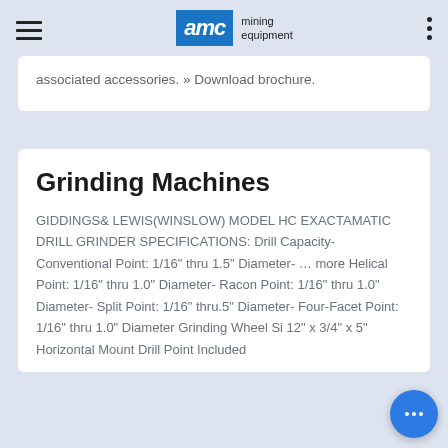AMC mining equipment
associated accessories. » Download brochure.
Grinding Machines
GIDDINGS& LEWIS(WINSLOW) MODEL HC EXACTAMATIC DRILL GRINDER SPECIFICATIONS: Drill Capacity- Conventional Point: 1/16" thru 1.5" Diameter- ... more Helical Point: 1/16" thru 1.0" Diameter- Racon Point: 1/16" thru 1.0" Diameter- Split Point: 1/16" thru.5" Diameter- Four-Facet Point: 1/16" thru 1.0" Diameter Grinding Wheel Si 12" x 3/4" x 5" Horizontal Mount Drill Point Included